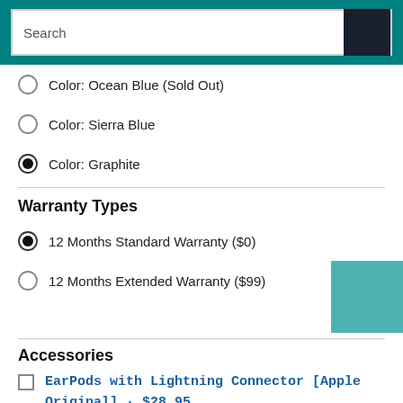Search
Color: Ocean Blue (Sold Out)
Color: Sierra Blue
Color: Graphite
Warranty Types
12 Months Standard Warranty ($0)
12 Months Extended Warranty ($99)
Accessories
EarPods with Lightning Connector [Apple Original] · $28.95